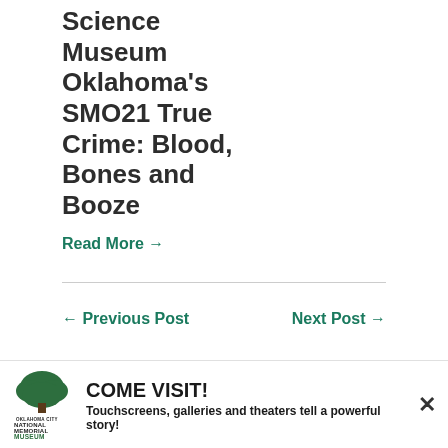Science Museum Oklahoma's SMO21 True Crime: Blood, Bones and Booze
Read More →
← Previous Post
Next Post →
[Figure (logo): Oklahoma City National Memorial Museum logo with tree icon]
COME VISIT! Touchscreens, galleries and theaters tell a powerful story!